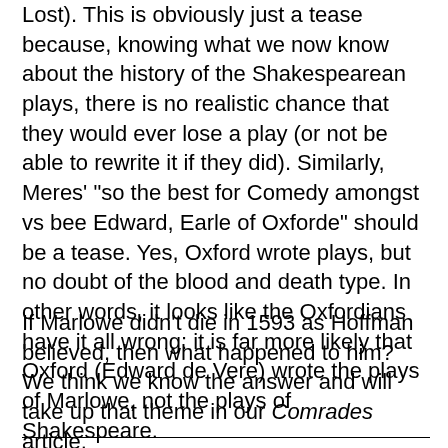Lost). This is obviously just a tease because, knowing what we now know about the history of the Shakespearean plays, there is no realistic chance that they would ever lose a play (or not be able to rewrite it if they did). Similarly, Meres' "so the best for Comedy amongst vs bee Edward, Earle of Oxforde" should be a tease. Yes, Oxford wrote plays, but no doubt of the blood and death type. In other words, it looks like the Oxfordians have it all wrong: it is far more likely that Oxford (Edward de Vere) wrote the plays of Marlowe, not the plays of Shakespeare.
If Marlowe didn't die in 1593 as Hoffman believed, then what happened to him? We think we know the answer and will take up that theme in our Comrades article.